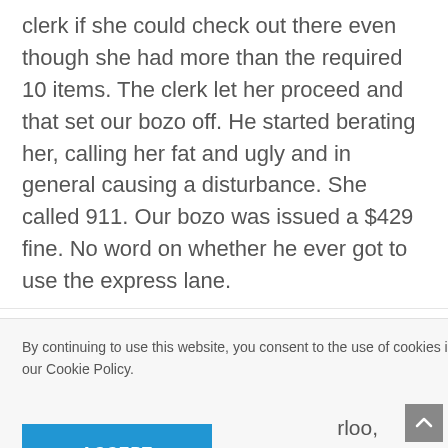clerk if she could check out there even though she had more than the required 10 items. The clerk let her proceed and that set our bozo off. He started berating her, calling her fat and ugly and in general causing a disturbance. She called 911. Our bozo was issued a $429 fine. No word on whether he ever got to use the express lane.
By continuing to use this website, you consent to the use of cookies in accordance with our Cookie Policy.
ACCEPT
rloo,